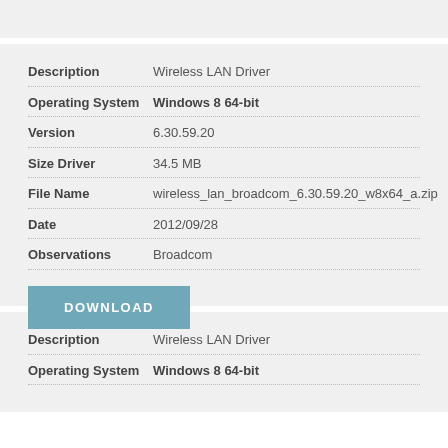| Field | Value |
| --- | --- |
| Description | Wireless LAN Driver |
| Operating System | Windows 8 64-bit |
| Version | 6.30.59.20 |
| Size Driver | 34.5 MB |
| File Name | wireless_lan_broadcom_6.30.59.20_w8x64_a.zip |
| Date | 2012/09/28 |
| Observations | Broadcom |
DOWNLOAD
| Field | Value |
| --- | --- |
| Description | Wireless LAN Driver |
| Operating System | Windows 8 64-bit |